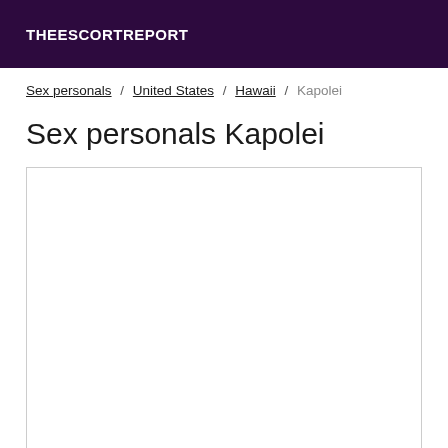THEESCORTREPORT
Sex personals / United States / Hawaii / Kapolei
Sex personals Kapolei
[Figure (other): Empty white content box with border]